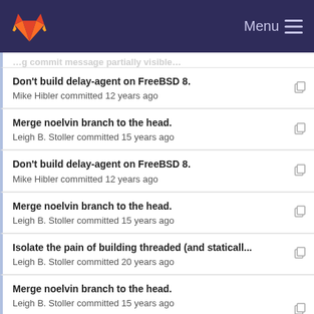Menu
Don't build delay-agent on FreeBSD 8. — Mike Hibler committed 12 years ago
Merge noelvin branch to the head. — Leigh B. Stoller committed 15 years ago
Don't build delay-agent on FreeBSD 8. — Mike Hibler committed 12 years ago
Merge noelvin branch to the head. — Leigh B. Stoller committed 15 years ago
Isolate the pain of building threaded (and staticall... — Leigh B. Stoller committed 20 years ago
Merge noelvin branch to the head. — Leigh B. Stoller committed 15 years ago
Added event library. — Ian Murdock committed 20 years ago